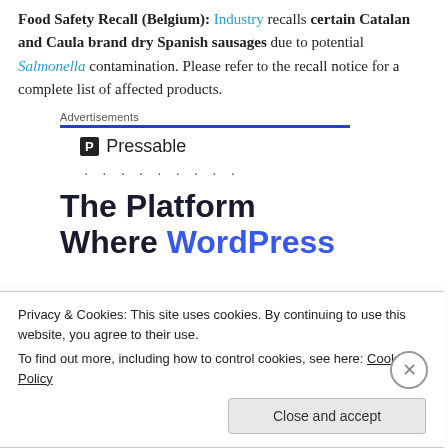Food Safety Recall (Belgium): Industry recalls certain Catalan and Caula brand dry Spanish sausages due to potential Salmonella contamination. Please refer to the recall notice for a complete list of affected products.
Advertisements
[Figure (logo): Pressable logo with icon and name, followed by dotted line]
The Platform Where WordPress
Privacy & Cookies: This site uses cookies. By continuing to use this website, you agree to their use. To find out more, including how to control cookies, see here: Cookie Policy